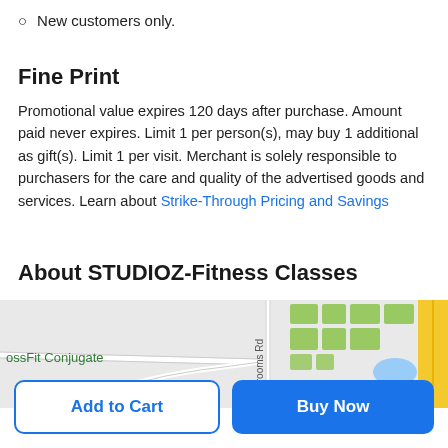New customers only.
Fine Print
Promotional value expires 120 days after purchase. Amount paid never expires. Limit 1 per person(s), may buy 1 additional as gift(s). Limit 1 per visit. Merchant is solely responsible to purchasers for the care and quality of the advertised goods and services. Learn about Strike-Through Pricing and Savings
About STUDIOZ-Fitness Classes
[Figure (map): Street map showing Grooms Rd area with green building footprints, a yellow road on the right, a blue water body, and a label for CrossFit Conjugate on the left side.]